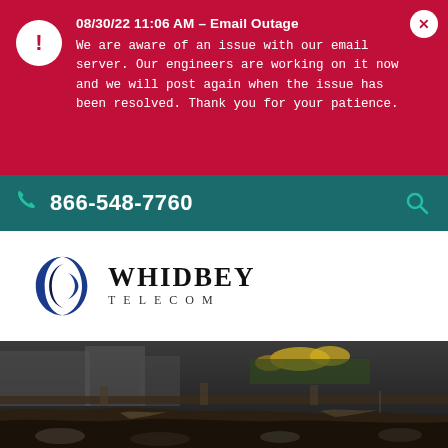08/30/22 11:06 AM – Email Outage
We are aware of an issue with our email server. Our engineers are working on it now and we will post again when the issue has been resolved. Thank you for your patience.
866-548-7760
[Figure (logo): Whidbey Telecom logo — blue circular swirl icon with the text WHIDBEY TELECOM]
[Figure (photo): Dark photo of a waterfront scene with driftwood, a dock, and yellow flowers in the background]